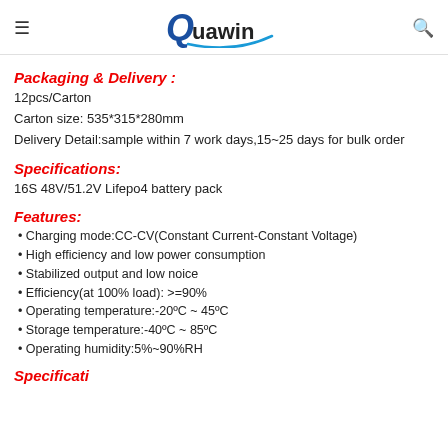Quawin
Packaging & Delivery :
12pcs/Carton
Carton size: 535*315*280mm
Delivery Detail:sample within 7 work days,15~25 days for bulk order
Specifications:
16S 48V/51.2V Lifepo4 battery pack
Features:
Charging mode:CC-CV(Constant Current-Constant Voltage)
High efficiency and low power consumption
Stabilized output and low noice
Efficiency(at 100% load): >=90%
Operating temperature:-20ºC ~ 45ºC
Storage temperature:-40ºC ~ 85ºC
Operating humidity:5%~90%RH
Specifications